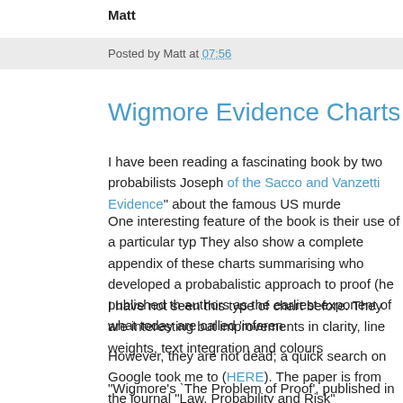Matt
Posted by Matt at 07:56
Wigmore Evidence Charts
I have been reading a fascinating book by two probabilists Joseph... of the Sacco and Vanzetti Evidence" about the famous US murde...
One interesting feature of the book is their use of a particular typ... They also show a complete appendix of these charts summarising... who developed a probabalistic approach to proof (he published th... authors as the earliest exponent of what today are called 'inferen...
I have not seen this type of chart before. They are interesting but... improvements in clarity, line weights, text integration and colours...
However, they are not dead; a quick search on Google took me to... (HERE). The paper is from the journal "Law, Probability and Risk"...
"Wigmore's `The Problem of Proof', published in 1913, was a pa... inferences from trial evidence. In this paper, written for a conferen...